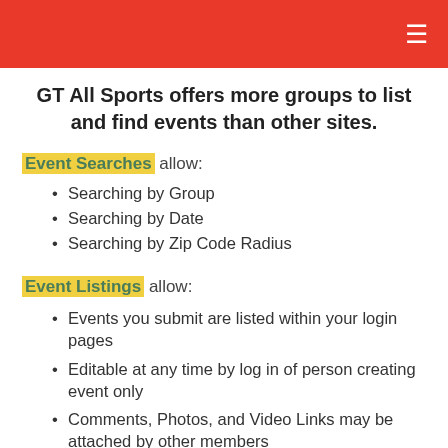≡
GT All Sports offers more groups to list and find events than other sites.
Event Searches allow:
Searching by Group
Searching by Date
Searching by Zip Code Radius
Event Listings allow:
Events you submit are listed within your login pages
Editable at any time by log in of person creating event only
Comments, Photos, and Video Links may be attached by other members